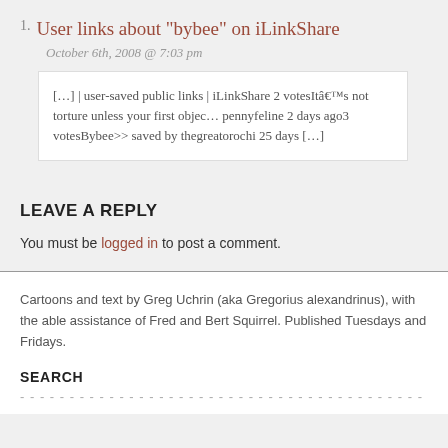1. User links about "bybee" on iLinkShare
October 6th, 2008 @ 7:03 pm
[…] | user-saved public links | iLinkShare 2 votesItâ€™s not torture unless your first objec… pennyfeline 2 days ago3 votesBybee>> saved by thegreatorochi 25 days […]
LEAVE A REPLY
You must be logged in to post a comment.
Cartoons and text by Greg Uchrin (aka Gregorius alexandrinus), with the able assistance of Fred and Bert Squirrel. Published Tuesdays and Fridays.
SEARCH